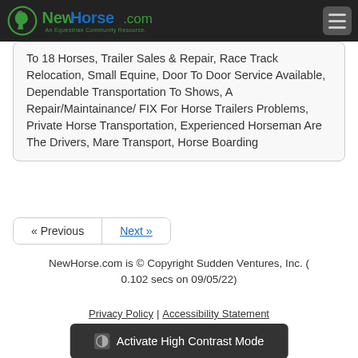NewHorse.com — An Equestrian Community Resource
To 18 Horses, Trailer Sales & Repair, Race Track Relocation, Small Equine, Door To Door Service Available, Dependable Transportation To Shows, A Repair/Maintainance/ FIX For Horse Trailers Problems, Private Horse Transportation, Experienced Horseman Are The Drivers, Mare Transport, Horse Boarding
« Previous  Next »
NewHorse.com is © Copyright Sudden Ventures, Inc. ( 0.102 secs on 09/05/22)
Privacy Policy | Accessibility Statement
Activate High Contrast Mode